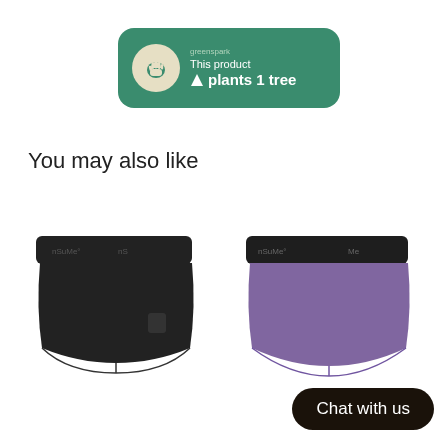[Figure (logo): Greenspark badge: green rounded rectangle with hand icon, 'greenspark' brand label, text 'This product plants 1 tree']
You may also like
[Figure (photo): Black women's boy-shorts underwear with dark branded waistband reading 'SuMe' and 'nS']
[Figure (photo): Purple/mauve women's boy-shorts underwear with dark branded waistband reading 'nSuMe']
Chat with us